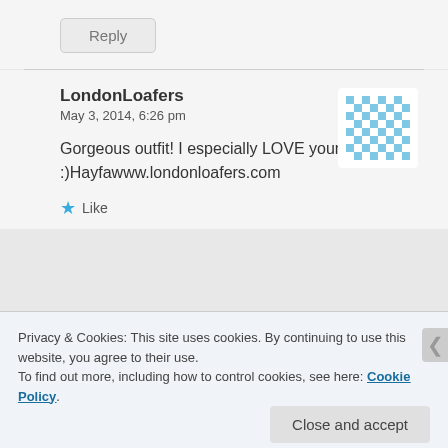[Figure (other): Reply button — a rounded rectangle button with grey background and 'Reply' text]
LondonLoafers
May 3, 2014, 6:26 pm
[Figure (other): Avatar — a pixelated blue-and-white checkerboard pattern square, used as a profile image placeholder]
Gorgeous outfit! I especially LOVE your sandals :)Hayfawww.londonloafers.com
★ Like
Privacy & Cookies: This site uses cookies. By continuing to use this website, you agree to their use.
To find out more, including how to control cookies, see here: Cookie Policy.
Close and accept